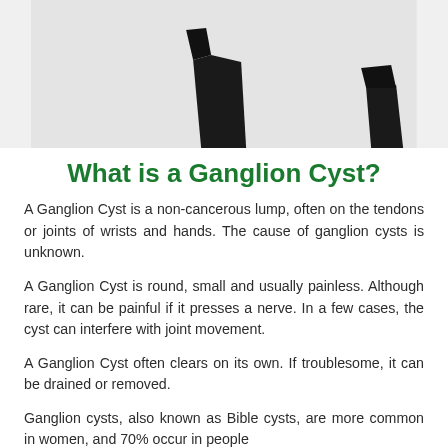[Figure (photo): Photo showing dark shoes or objects partially visible against a light/white background, cropped so only the bottom portions are visible.]
What is a Ganglion Cyst?
A Ganglion Cyst is a non-cancerous lump, often on the tendons or joints of wrists and hands. The cause of ganglion cysts is unknown.
A Ganglion Cyst is round, small and usually painless. Although rare, it can be painful if it presses a nerve. In a few cases, the cyst can interfere with joint movement.
A Ganglion Cyst often clears on its own. If troublesome, it can be drained or removed.
Ganglion cysts, also known as Bible cysts, are more common in women, and 70% occur in people...